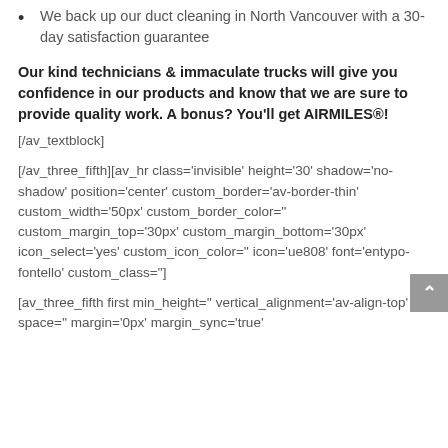We back up our duct cleaning in North Vancouver with a 30-day satisfaction guarantee
Our kind technicians & immaculate trucks will give you confidence in our products and know that we are sure to provide quality work. A bonus? You'll get AIRMILES®!
[/av_textblock]
[/av_three_fifth][av_hr class='invisible' height='30' shadow='no-shadow' position='center' custom_border='av-border-thin' custom_width='50px' custom_border_color='' custom_margin_top='30px' custom_margin_bottom='30px' icon_select='yes' custom_icon_color='' icon='ue808' font='entypo-fontello' custom_class='']
[av_three_fifth first min_height='' vertical_alignment='av-align-top' space='' margin='0px' margin_sync='true'